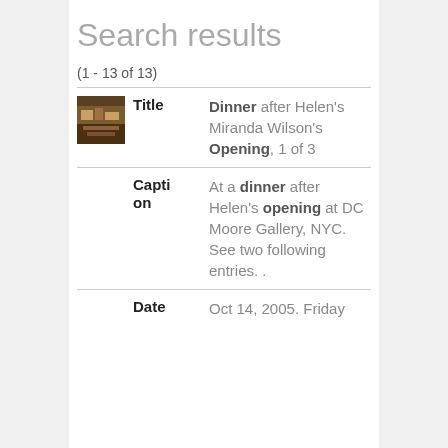Search results
(1 - 13 of 13)
|  | Label | Value |
| --- | --- | --- |
| [thumbnail] | Title | Dinner after Helen's Miranda Wilson's Opening, 1 of 3 |
|  | Caption | At a dinner after Helen's opening at DC Moore Gallery, NYC. See two following entries. . |
|  | Date | Oct 14, 2005. Friday |